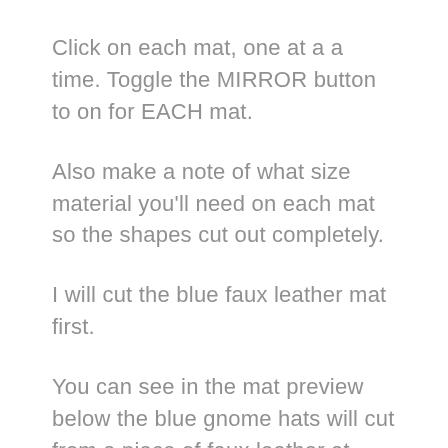Click on each mat, one at a a time. Toggle the MIRROR button to on for EACH mat.
Also make a note of what size material you'll need on each mat so the shapes cut out completely.
I will cut the blue faux leather mat first.
You can see in the mat preview below the blue gnome hats will cut from a piece of faux leather at least 3 inches wide and a little more than 2 inches tall.